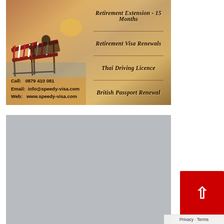[Figure (photo): Advertisement banner for Speedy Visa services showing beach chairs on a sandy beach at sunset. Text lists services: Retirement Extension 15 Months, Retirement Visa Renewals, Thai Driving Licence, British Passport Renewal. Contact: Call: 0879 410 081, Email: info@speedy-visa.com, Web: www.speedy-visa.com]
[Figure (photo): Gray/silver placeholder image block below the advertisement banner]